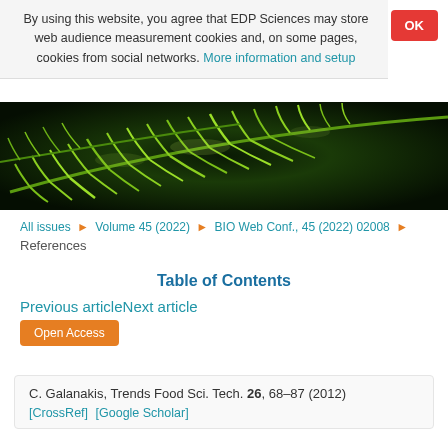By using this website, you agree that EDP Sciences may store web audience measurement cookies and, on some pages, cookies from social networks. More information and setup
[Figure (photo): Macro photograph of green fern leaves against dark background]
All issues ▶ Volume 45 (2022) ▶ BIO Web Conf., 45 (2022) 02008 ▶ References
Table of Contents
Previous articleNext article
Open Access
C. Galanakis, Trends Food Sci. Tech. 26, 68–87 (2012) [CrossRef] [Google Scholar]